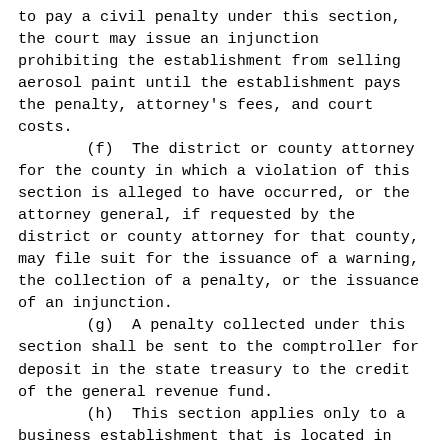to pay a civil penalty under this section, the court may issue an injunction prohibiting the establishment from selling aerosol paint until the establishment pays the penalty, attorney's fees, and court costs.
        (f)  The district or county attorney for the county in which a violation of this section is alleged to have occurred, or the attorney general, if requested by the district or county attorney for that county, may file suit for the issuance of a warning, the collection of a penalty, or the issuance of an injunction.
        (g)  A penalty collected under this section shall be sent to the comptroller for deposit in the state treasury to the credit of the general revenue fund.
        (h)  This section applies only to a business establishment that is located in